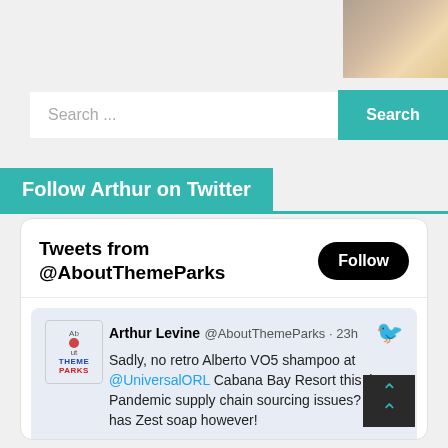[Figure (photo): Profile photo of Arthur Levine in top right corner]
Search ...
Search
Follow Arthur on Twitter
[Figure (screenshot): Twitter widget showing tweets from @AboutThemeParks with a Follow button and a tweet by Arthur Levine @AboutThemeParks · 23h: Sadly, no retro Alberto VO5 shampoo at @UniversalORL Cabana Bay Resort this time. Pandemic supply chain sourcing issues? Still has Zest soap however!]